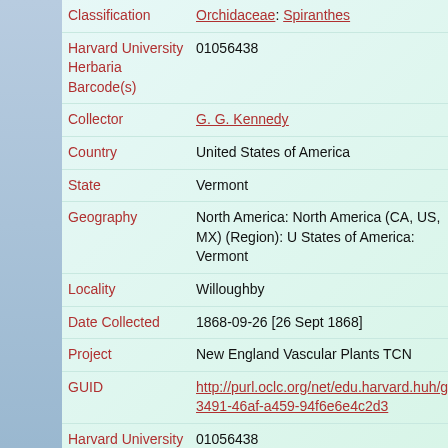| Field | Value |
| --- | --- |
| Classification | Orchidaceae: Spiranthes |
| Harvard University Herbaria Barcode(s) | 01056438 |
| Collector | G. G. Kennedy |
| Country | United States of America |
| State | Vermont |
| Geography | North America: North America (CA, US, MX) (Region): United States of America: Vermont |
| Locality | Willoughby |
| Date Collected | 1868-09-26 [26 Sept 1868] |
| Project | New England Vascular Plants TCN |
| GUID | http://purl.oclc.org/net/edu.harvard.huh/guid/uuid/008...3491-46af-a459-94f6e6e4c2d3 |
| Harvard University Herbaria Barcode | 01056438 |
| Herbarium | NEBC |
| Family | Orchidaceae |
| Determination | Spiranthes cernua (Linnaeus) Richard |